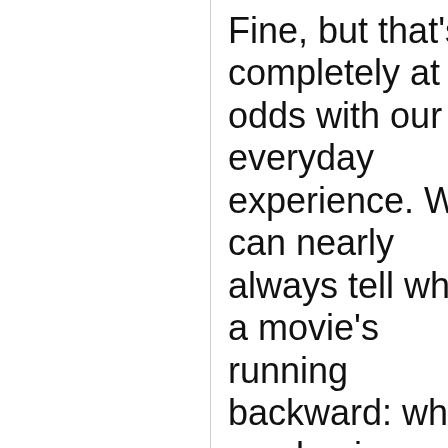Fine, but that's completely at odds with our everyday experience. We can nearly always tell when a movie's running backward: when we dominoes spontaneously rising into a complex pattern instead of falling, gases